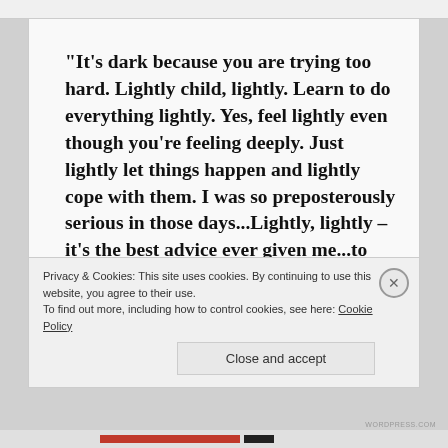“It’s dark because you are trying too hard. Lightly child, lightly. Learn to do everything lightly. Yes, feel lightly even though you’re feeling deeply. Just lightly let things happen and lightly cope with them. I was so preposterously serious in those days…Lightly, lightly – it’s the best advice ever given me…to throw away your baggage and go forward. There are quicksands all about you, sucking at your feet, trying to suck you down into fear and self-pity and despair. That’s why you must walk so lightly. Lightly my darling…”
Privacy & Cookies: This site uses cookies. By continuing to use this website, you agree to their use.
To find out more, including how to control cookies, see here: Cookie Policy
Close and accept